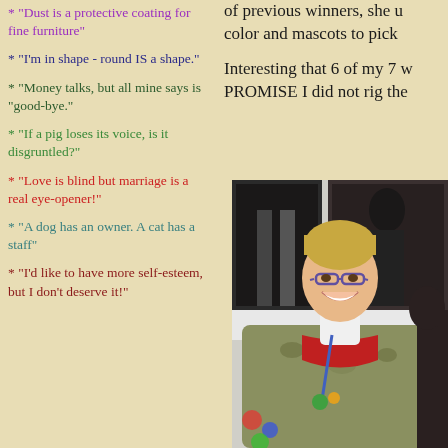* "Dust is a protective coating for fine furniture"
of previous winners, she u color and mascots to pick
* "I'm in shape - round IS a shape."
Interesting that 6 of my 7 w PROMISE I did not rig the
* "Money talks, but all mine says is "good-bye."
* "If a pig loses its voice, is it disgruntled?"
* "Love is blind but marriage is a real eye-opener!"
* "A dog has an owner. A cat has a staff"
* "I'd like to have more self-esteem, but I don't deserve it!"
[Figure (photo): A smiling woman with short blonde hair and glasses wearing a floral jacket and blue lanyard, standing in front of artwork on a wall.]